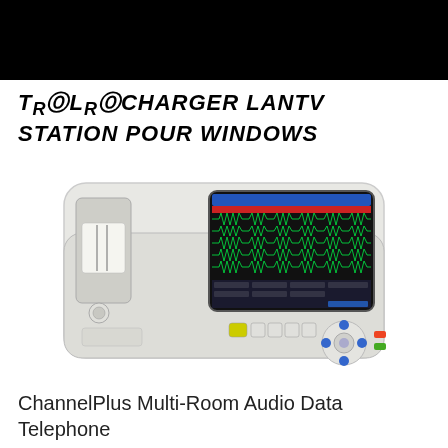[Figure (photo): Black banner/header bar at the top of the page]
TrOLrOCHARGER LANTV STATION POUR WINDOWS
[Figure (photo): Photo of a medical ECG/EKG device (electrocardiograph) with a color display showing green ECG waveforms, paper printer slot on the left, and control buttons at the bottom]
ChannelPlus Multi-Room Audio Data Telephone